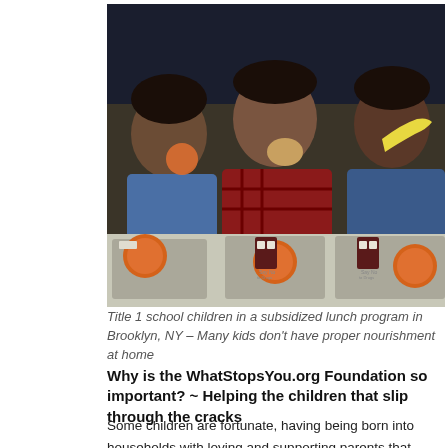[Figure (photo): Three young Black children sitting at a school cafeteria table eating lunch. School lunch trays with oranges and small milk cartons are visible in front of them. The children are eating fruit — one holds an orange slice, one holds a bagel or roll, one holds a banana. The photo appears to be from the 1990s.]
Title 1 school children in a subsidized lunch program in Brooklyn, NY – Many kids don't have proper nourishment at home
Why is the WhatStopsYou.org Foundation so important?  ~  Helping the children that slip through the cracks
Some children are fortunate, having being born into households with loving and supporting parents that understand the value of teaching children that